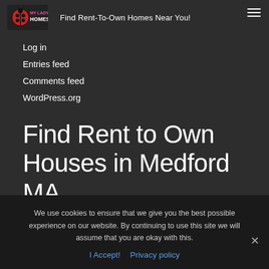Find Rent-To-Own Homes Near You!
Log in
Entries feed
Comments feed
WordPress.org
Find Rent to Own Houses in Medford MA
We use cookies to ensure that we give you the best possible experience on our website. By continuing to use this site we will assume that you are okay with this.
I Accept!   Privacy policy